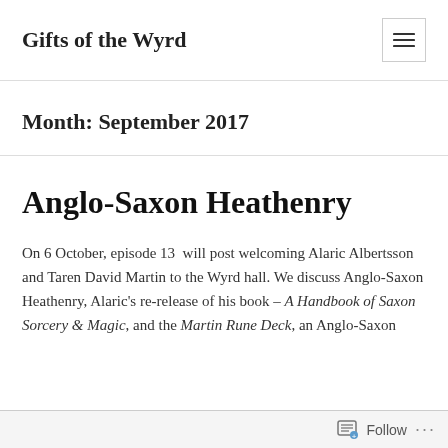Gifts of the Wyrd
Month: September 2017
Anglo-Saxon Heathenry
On 6 October, episode 13  will post welcoming Alaric Albertsson and Taren David Martin to the Wyrd hall. We discuss Anglo-Saxon Heathenry, Alaric's re-release of his book – A Handbook of Saxon Sorcery & Magic, and the Martin Rune Deck, an Anglo-Saxon
Follow ...